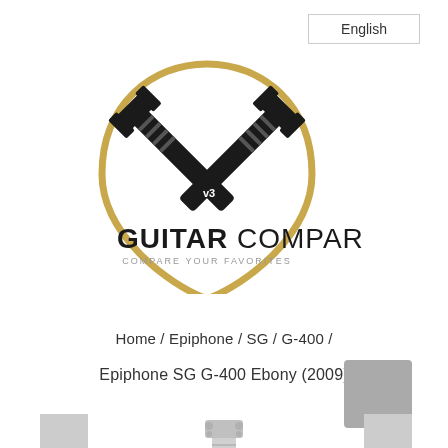English
[Figure (logo): Guitar Compare logo with crossed guitar necks forming a checkmark inside a guitar pick outline, with text GUITAR COMPARE and COMPARE YOUR FAVORITES]
Home / Epiphone / SG / G-400 /
Epiphone SG G-400 Ebony (2009)
[Figure (photo): Epiphone SG G-400 Ebony electric guitar in light gray/silver color shown from front, with SG double-cutaway body shape, visible fretboard and headstock at top]